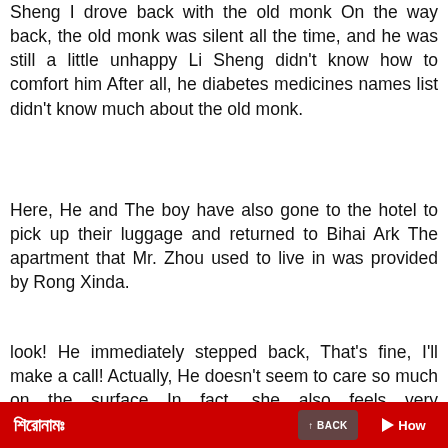Sheng I drove back with the old monk On the way back, the old monk was silent all the time, and he was still a little unhappy Li Sheng didn’t know how to comfort him After all, he diabetes medicines names list didn’t know much about the old monk.
Here, He and The boy have also gone to the hotel to pick up their luggage and returned to Bihai Ark The apartment that Mr. Zhou used to live in was provided by Rong Xinda.
look! He immediately stepped back, That’s fine, I’ll make a call! Actually, He doesn’t seem to care so much on the surface In fact, she also feels very uncomfortable. She seemed to
শিরোনামঃ  How